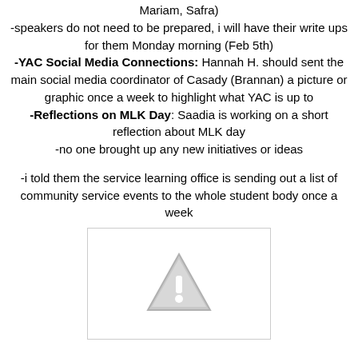Mariam, Safra)
-speakers do not need to be prepared, i will have their write ups for them Monday morning (Feb 5th)
-YAC Social Media Connections: Hannah H. should sent the main social media coordinator of Casady (Brannan) a picture or graphic once a week to highlight what YAC is up to
-Reflections on MLK Day: Saadia is working on a short reflection about MLK day
-no one brought up any new initiatives or ideas
-i told them the service learning office is sending out a list of community service events to the whole student body once a week
[Figure (other): Image placeholder with warning triangle icon and exclamation mark, bordered box]